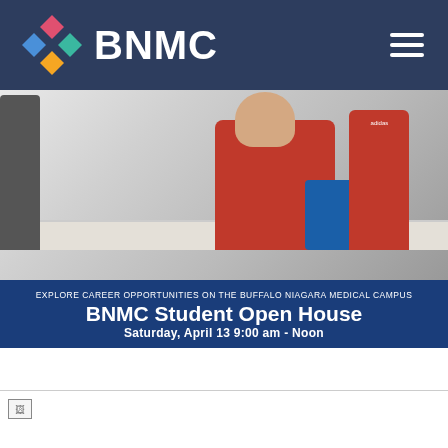[Figure (logo): BNMC logo with colorful diamond/cross shapes and white BNMC text on dark navy background navigation header]
[Figure (photo): Students exploring lab equipment on a white table during BNMC Student Open House event, with overlay text]
BNMC Student Open House
EXPLORE CAREER OPPORTUNITIES ON THE BUFFALO NIAGARA MEDICAL CAMPUS
Saturday, April 13 9:00 am - Noon
[Figure (photo): Broken image placeholder at bottom of page]